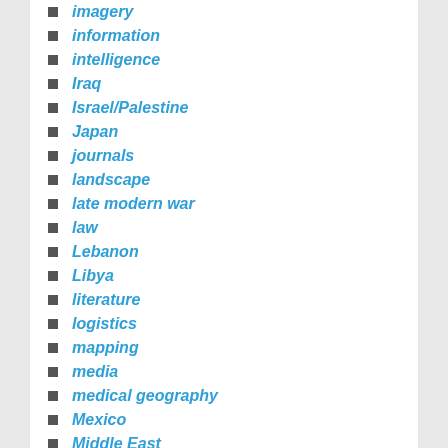imagery
information
intelligence
Iraq
Israel/Palestine
Japan
journals
landscape
late modern war
law
Lebanon
Libya
literature
logistics
mapping
media
medical geography
Mexico
Middle East
military occupation
nature
new wars